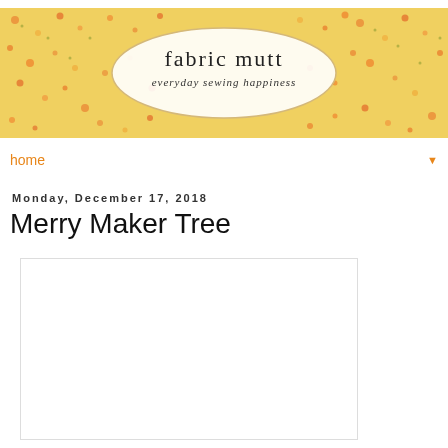[Figure (illustration): Fabric Mutt blog header banner with floral pattern background and oval logo containing 'fabric mutt' and 'everyday sewing happiness']
home
Monday, December 17, 2018
Merry Maker Tree
[Figure (photo): A partially visible image placeholder with white/light content, likely a sewing or craft project photo]